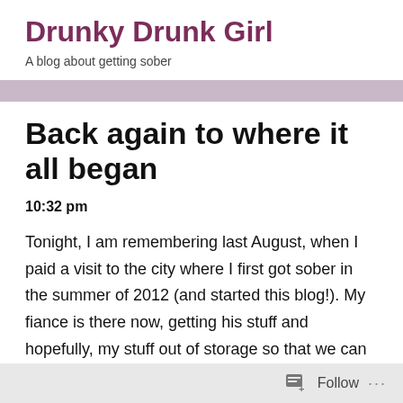Drunky Drunk Girl
A blog about getting sober
Back again to where it all began
10:32 pm
Tonight, I am remembering last August, when I paid a visit to the city where I first got sober in the summer of 2012 (and started this blog!).  My fiance is there now, getting his stuff and hopefully, my stuff out of storage so that we can finally consolidate it all under one roof.  I've had my stuff in
Follow